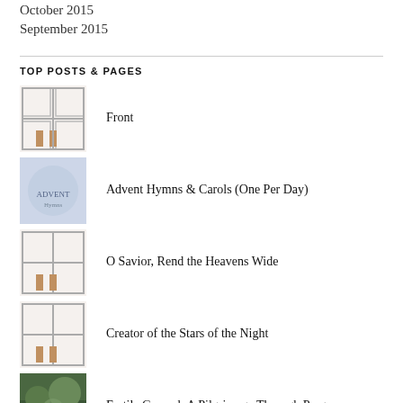October 2015
September 2015
TOP POSTS & PAGES
Front
Advent Hymns & Carols (One Per Day)
O Savior, Rend the Heavens Wide
Creator of the Stars of the Night
Fertile Ground: A Pilgrimage Through Pregnancy